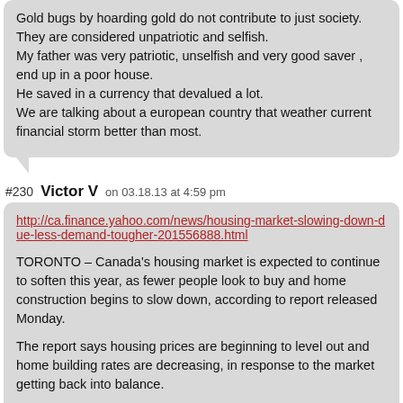Gold bugs by hoarding gold do not contribute to just society.
They are considered unpatriotic and selfish.
My father was very patriotic, unselfish and very good saver , end up in a poor house.
He saved in a currency that devalued a lot.
We are talking about a european country that weather current financial storm better than most.
#230  Victor V  on 03.18.13 at 4:59 pm
http://ca.finance.yahoo.com/news/housing-market-slowing-down-due-less-demand-tougher-201556888.html
TORONTO – Canada's housing market is expected to continue to soften this year, as fewer people look to buy and home construction begins to slow down, according to report released Monday.
The report says housing prices are beginning to level out and home building rates are decreasing, in response to the market getting back into balance.
"We expect the reduced momentum in sales and construction will continue